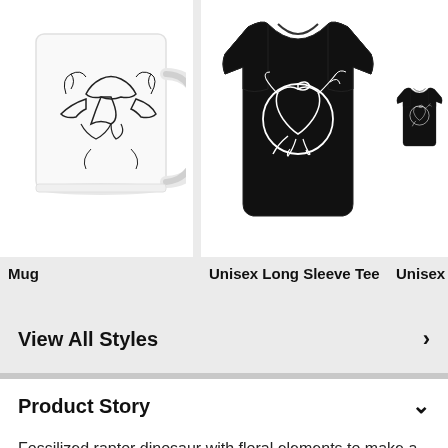[Figure (photo): White ceramic mug with black illustrated fossilized raptor dinosaur design with floral elements]
[Figure (photo): Black unisex long sleeve tee with white illustrated fossilized raptor dinosaur with floral elements design]
[Figure (photo): Black unisex cotton tee with white illustrated fossilized raptor dinosaur with floral elements design, partially visible]
Mug
Unisex Long Sleeve Tee
Unisex Cott
View All Styles
Product Story
Fossilized raptor dinosaur with floral elements to make a subtle yet prehistoric nerd design.
Product Features